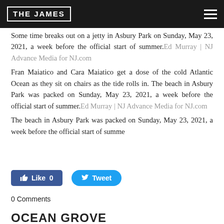THE JAMES
Some time breaks out on a jetty in Asbury Park on Sunday, May 23, 2021, a week before the official start of summer.Ed Murray | NJ Advance Media for NJ.com
Fran Maiatico and Cara Maiatico get a dose of the cold Atlantic Ocean as they sit on chairs as the tide rolls in. The beach in Asbury Park was packed on Sunday, May 23, 2021, a week before the official start of summer.Ed Murray | NJ Advance Media for NJ.com
The beach in Asbury Park was packed on Sunday, May 23, 2021, a week before the official start of summe
[Figure (other): Facebook Like button with count 0 and Twitter Tweet button]
0 Comments
OCEAN GROVE